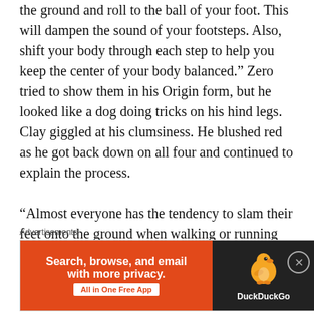the ground and roll to the ball of your foot. This will dampen the sound of your footsteps. Also, shift your body through each step to help you keep the center of your body balanced.” Zero tried to show them in his Origin form, but he looked like a dog doing tricks on his hind legs. Clay giggled at his clumsiness. He blushed red as he got back down on all four and continued to explain the process.

“Almost everyone has the tendency to slam their feet onto the ground when walking or running without noticing what they are doing. This will
Advertisements
[Figure (other): DuckDuckGo advertisement banner: orange left panel with text 'Search, browse, and email with more privacy. All in One Free App' and dark right panel with DuckDuckGo logo and name.]